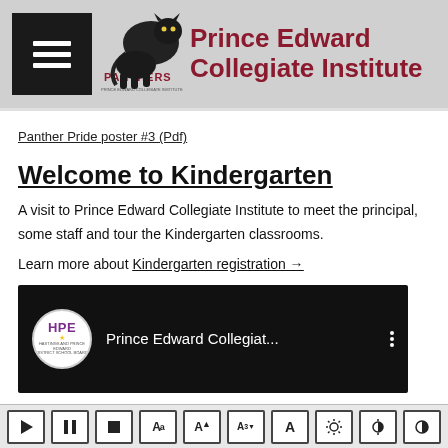Prince Edward Collegiate Institute
Panther Pride poster #3 (Pdf)
Welcome to Kindergarten
A visit to Prince Edward Collegiate Institute to meet the principal, some staff and tour the Kindergarten classrooms.
Learn more about Kindergarten registration →
[Figure (screenshot): YouTube video thumbnail showing Prince Edward Collegiate Institute video, with HPE logo and video title 'Prince Edward Collegiat...']
Toolbar with play, pause, stop, font size, brightness and contrast controls